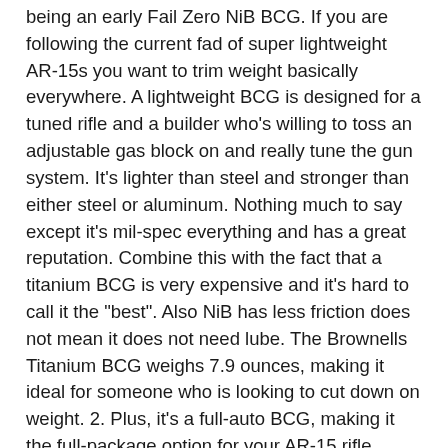being an early Fail Zero NiB BCG. If you are following the current fad of super lightweight AR-15s you want to trim weight basically everywhere. A lightweight BCG is designed for a tuned rifle and a builder who's willing to toss an adjustable gas block on and really tune the gun system. It's lighter than steel and stronger than either steel or aluminum. Nothing much to say except it's mil-spec everything and has a great reputation. Combine this with the fact that a titanium BCG is very expensive and it's hard to call it the "best". Also NiB has less friction does not mean it does not need lube. The Brownells Titanium BCG weighs 7.9 ounces, making it ideal for someone who is looking to cut down on weight. 2. Plus, it's a full-auto BCG, making it the full-package option for your AR-15 rifle. Guntec USA AR-15 Rainbow PVD BCG Bolt Carrier Group Enhanced M16 5.56 AR15 Milspec Chameleon . And is easier to clean. So if you don't mind cleaning your current and the recoil isn't a big deal, what other reason is there to change? Subscribe to Pew Pew